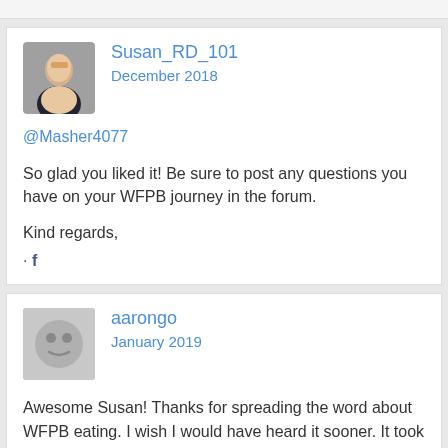Susan_RD_101
December 2018
@Masher4077
So glad you liked it! Be sure to post any questions you have on your WFPB journey in the forum.
Kind regards,
aarongo
January 2019
Awesome Susan! Thanks for spreading the word about WFPB eating. I wish I would have heard it sooner. It took me so long to get over the idea that we're omnivores and that we need meat for protein but I finally made the leap 4 years ago and I've never felt better! I'm 41 and in much better shape than I was when I was 25, largely thanks to eating an entirely plant